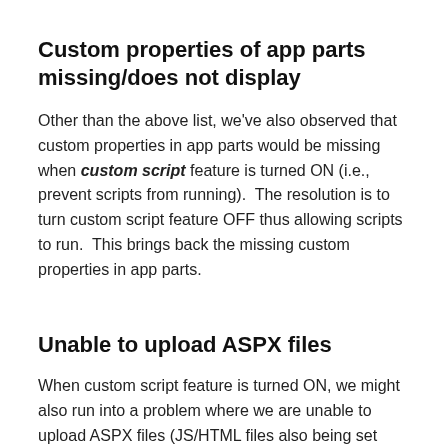Custom properties of app parts missing/does not display
Other than the above list, we've also observed that custom properties in app parts would be missing when custom script feature is turned ON (i.e., prevent scripts from running).  The resolution is to turn custom script feature OFF thus allowing scripts to run.  This brings back the missing custom properties in app parts.
Unable to upload ASPX files
When custom script feature is turned ON, we might also run into a problem where we are unable to upload ASPX files (JS/HTML files also being set fires).